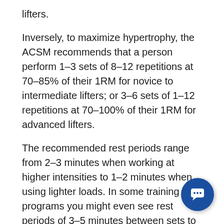lifters.
Inversely, to maximize hypertrophy, the ACSM recommends that a person perform 1–3 sets of 8–12 repetitions at 70–85% of their 1RM for novice to intermediate lifters; or 3–6 sets of 1–12 repetitions at 70–100% of their 1RM for advanced lifters.
The recommended rest periods range from 2–3 minutes when working at higher intensities to 1–2 minutes when using lighter loads. In some training programs you might even see rest periods of 3–5 minutes between sets to allow for optimal recovery and performance on each set.
For more information on resistance training guidelines, see https://www.acsm.org/docs/brochures/resistanc